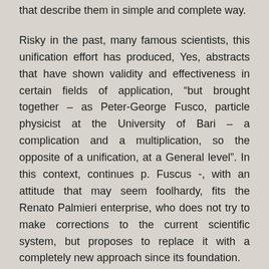that describe them in simple and complete way.
Risky in the past, many famous scientists, this unification effort has produced, Yes, abstracts that have shown validity and effectiveness in certain fields of application, “but brought together – as Peter-George Fusco, particle physicist at the University of Bari – a complication and a multiplication, so the opposite of a unification, at a General level”. In this context, continues p. Fuscus -, with an attitude that may seem foolhardy, fits the Renato Palmieri enterprise, who does not try to make corrections to the current scientific system, but proposes to replace it with a completely new approach since its foundation.
Gravitation and atomic forces are “in essence – explains Fusco – just different manifestations, with